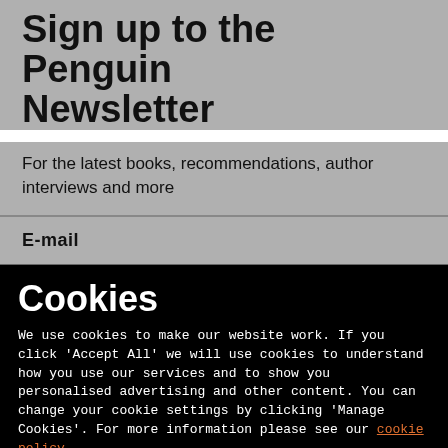Sign up to the Penguin Newsletter
For the latest books, recommendations, author interviews and more
E-mail
Cookies
We use cookies to make our website work. If you click 'Accept All' we will use cookies to understand how you use our services and to show you personalised advertising and other content. You can change your cookie settings by clicking 'Manage Cookies'. For more information please see our cookie policy
MANAGE COOKIE SETTINGS
ACCEPT ALL COOKIES